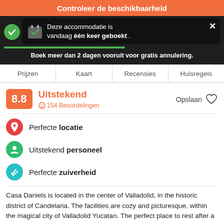Controleer de beschikbaarheid
Deze accommodatie is vandaag één keer geboekt .
Boek meer dan 2 dagen vooruit voor gratis annulering.
Prijzen | Kaart | Recensies | Huisregels
8.8 Uitstekend 154 Beoordelingen Opslaan
Perfecte locatie
Uitstekend personeel
Perfecte zuiverheid
Casa Daniels is located in the center of Valladolid, in the historic district of Candelaria. The facilities are cozy and picturesque, within the magical city of Valladolid Yucatan. The perfect place to rest after a long